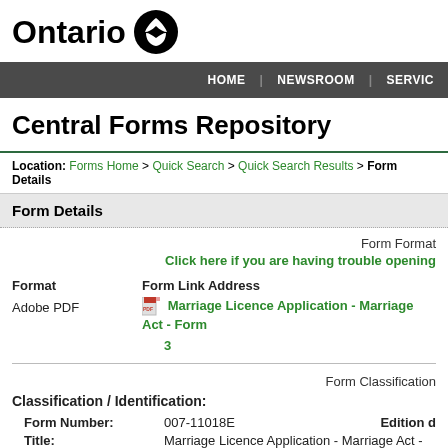[Figure (logo): Ontario government logo with trillium symbol]
HOME | NEWSROOM | SERVIC
Central Forms Repository
Location: Forms Home > Quick Search > Quick Search Results > Form Details
Form Details
Form Format
Click here if you are having trouble opening
| Format | Form Link Address |
| --- | --- |
| Adobe PDF | Marriage Licence Application - Marriage Act - Form 3 |
Form Classification
Classification / Identification:
| Form Number: | 007-11018E | Edition d |
| --- | --- | --- |
| Title: | Marriage Licence Application - Marriage Act - Form |  |
| Ministry: | Government and Consumer Services |  |
Government and Consumer Services